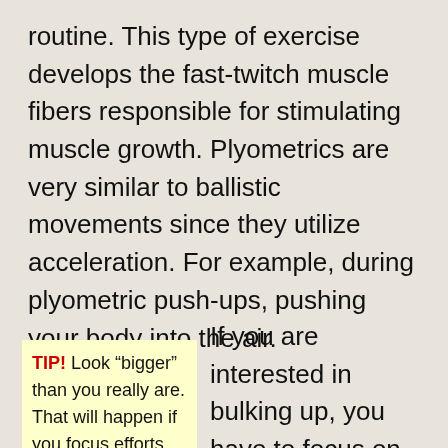routine. This type of exercise develops the fast-twitch muscle fibers responsible for stimulating muscle growth. Plyometrics are very similar to ballistic movements since they utilize acceleration. For example, during plyometric push-ups, pushing your body into the air.
TIP! Look “bigger” than you really are. That will happen if you focus efforts on the upper back,
If you are interested in bulking up, you have to focus on squatting, squats and dead lifts. These exercises can assist you into shape fast and build muscle quickly. These